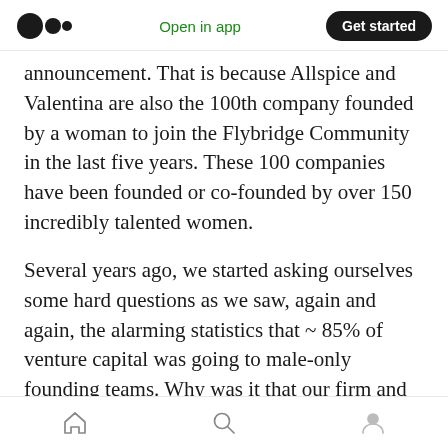Medium logo | Open in app | Get started
announcement. That is because Allspice and Valentina are also the 100th company founded by a woman to join the Flybridge Community in the last five years. These 100 companies have been founded or co-founded by over 150 incredibly talented women.
Several years ago, we started asking ourselves some hard questions as we saw, again and again, the alarming statistics that ~ 85% of venture capital was going to male-only founding teams. Why was it that our firm and our community of founders were not much different than the
Home | Search | Profile